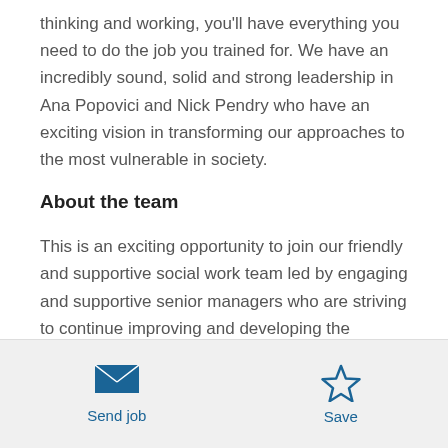thinking and working, you'll have everything you need to do the job you trained for. We have an incredibly sound, solid and strong leadership in Ana Popovici and Nick Pendry who have an exciting vision in transforming our approaches to the most vulnerable in society.
About the team
This is an exciting opportunity to join our friendly and supportive social work team led by engaging and supportive senior managers who are striving to continue improving and developing the service. This is a
Send job  Save